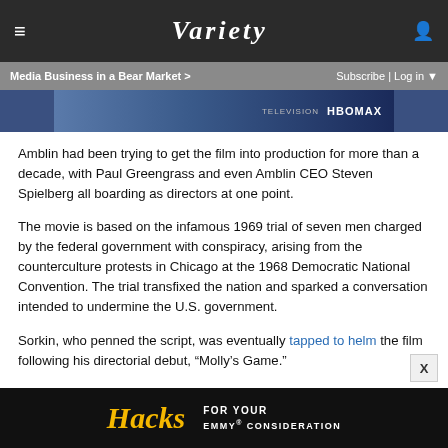≡   VARIETY   👤
Media Business in a Bear Market >   Subscribe | Log in ▼
[Figure (screenshot): Partial image strip showing HBO Max television content with leopard print and blue tones]
Amblin had been trying to get the film into production for more than a decade, with Paul Greengrass and even Amblin CEO Steven Spielberg all boarding as directors at one point.
The movie is based on the infamous 1969 trial of seven men charged by the federal government with conspiracy, arising from the counterculture protests in Chicago at the 1968 Democratic National Convention. The trial transfixed the nation and sparked a conversation intended to undermine the U.S. government.
Sorkin, who penned the script, was eventually tapped to helm the film following his directorial debut, "Molly's Game."
[Figure (screenshot): Bottom advertisement banner for Hacks - For Your Emmy Consideration, dark background with yellow script logo]